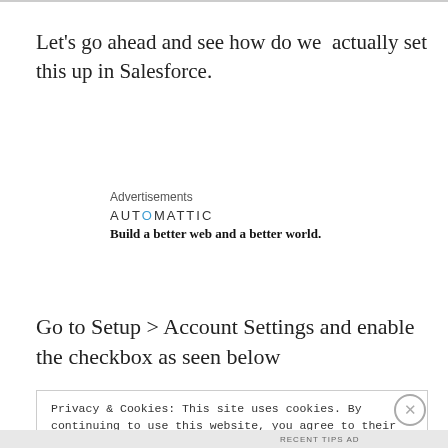Let's go ahead and see how do we actually set this up in Salesforce.
[Figure (other): Automattic advertisement banner with logo text 'AUTOMATTIC' and tagline 'Build a better web and a better world.' under an 'Advertisements' label.]
Go to Setup > Account Settings and enable the checkbox as seen below
Privacy & Cookies: This site uses cookies. By continuing to use this website, you agree to their use.
To find out more, including how to control cookies, see here: Cookie Policy
Close and accept